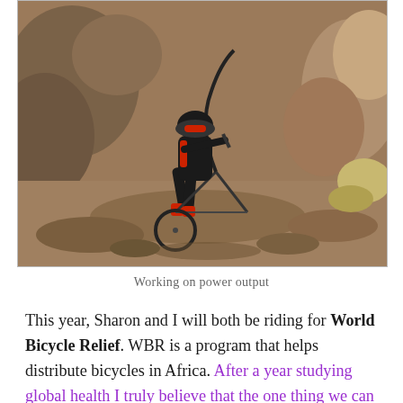[Figure (photo): A mountain biker in a black and red jersey navigating a rocky trail, lifting the front wheel of the bicycle over rocks and boulders in a dry, arid landscape.]
Working on power output
This year, Sharon and I will both be riding for World Bicycle Relief. WBR is a program that helps distribute bicycles in Africa. After a year studying global health I truly believe that the one thing we can do that will create the largest impact and ripple in a community is to